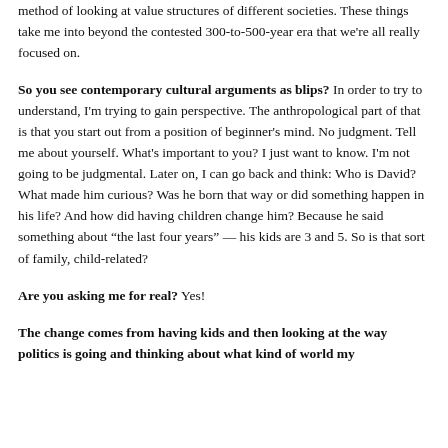method of looking at value structures of different societies. These things take me into beyond the contested 300-to-500-year era that we're all really focused on.
So you see contemporary cultural arguments as blips? In order to try to understand, I'm trying to gain perspective. The anthropological part of that is that you start out from a position of beginner's mind. No judgment. Tell me about yourself. What's important to you? I just want to know. I'm not going to be judgmental. Later on, I can go back and think: Who is David? What made him curious? Was he born that way or did something happen in his life? And how did having children change him? Because he said something about "the last four years" — his kids are 3 and 5. So is that sort of family, child-related?
Are you asking me for real? Yes!
The change comes from having kids and then looking at the way politics is going and thinking about what kind of world my